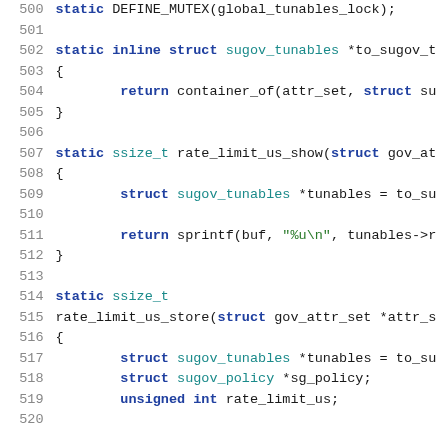500  static DEFINE_MUTEX(global_tunables_lock);
501
502  static inline struct sugov_tunables *to_sugov_t
503  {
504          return container_of(attr_set, struct su
505  }
506
507  static ssize_t rate_limit_us_show(struct gov_at
508  {
509          struct sugov_tunables *tunables = to_su
510
511          return sprintf(buf, "%u\n", tunables->r
512  }
513
514  static ssize_t
515  rate_limit_us_store(struct gov_attr_set *attr_s
516  {
517          struct sugov_tunables *tunables = to_su
518          struct sugov_policy *sg_policy;
519          unsigned int rate_limit_us;
520